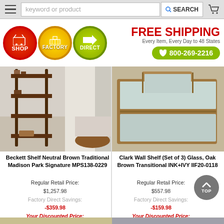keyword or product  SEARCH
[Figure (logo): Shop Factory Direct logo with three circles (red SHOP, yellow FACTORY, green DIRECT), FREE SHIPPING Every Item, Every Day to 48 States, phone 800-269-2216]
[Figure (photo): Beckett Shelf Neutral Brown Traditional bookshelf in a living room setting]
Beckett Shelf Neutral Brown Traditional Madison Park Signature MPS138-0229
Regular Retail Price: $1,257.98
Factory Direct Savings: -$359.98
Your Discounted Price: $898.00
[Figure (photo): Clark Wall Shelf Set of 3 Glass Oak Brown Transitional wall-mounted shelving unit with mirrors]
Clark Wall Shelf (Set of 3) Glass, Oak Brown Transitional INK+IVY IIF20-0118
Regular Retail Price: $557.98
Factory Direct Savings: -$159.98
Your Discounted Price: $398.00
[Figure (photo): Partial product image at bottom left]
[Figure (photo): Partial product image at bottom right]